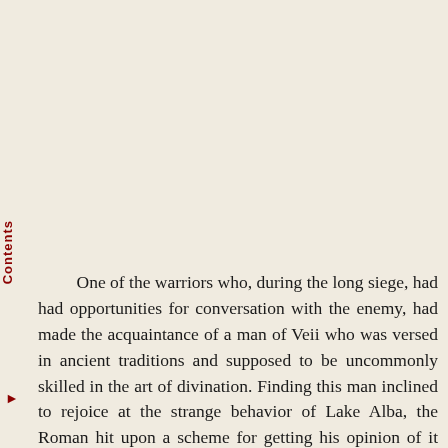Contents ▶
One of the warriors who, during the long siege, had had opportunities for conversation with the enemy, had made the acquaintance of a man of Veii who was versed in ancient traditions and supposed to be uncommonly skilled in the art of divination. Finding this man inclined to rejoice at the strange behavior of Lake Alba, the Roman hit upon a scheme for getting his opinion of it without asking questions. So as to direct to start the matter with